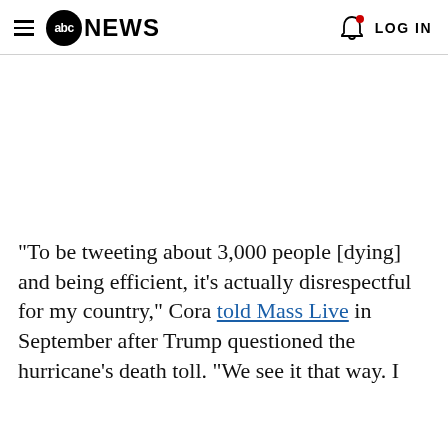abc NEWS | LOG IN
"To be tweeting about 3,000 people [dying] and being efficient, it's actually disrespectful for my country," Cora told Mass Live in September after Trump questioned the hurricane's death toll. "We see it that way. I